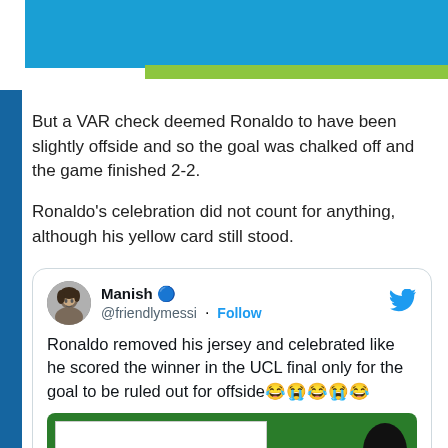[Figure (other): Header banner with blue diagonal shape and green horizontal bar, with dark blue left sidebar]
But a VAR check deemed Ronaldo to have been slightly offside and so the goal was chalked off and the game finished 2-2.
Ronaldo's celebration did not count for anything, although his yellow card still stood.
Manish 🔵 @friendlymessi · Follow
Ronaldo removed his jersey and celebrated like he scored the winner in the UCL final only for the goal to be ruled out for offside😂😭😂😭😂
[Figure (screenshot): Embedded tweet image showing a football/soccer field graphic with a white video player overlay and a dark circle icon labeled 'er']